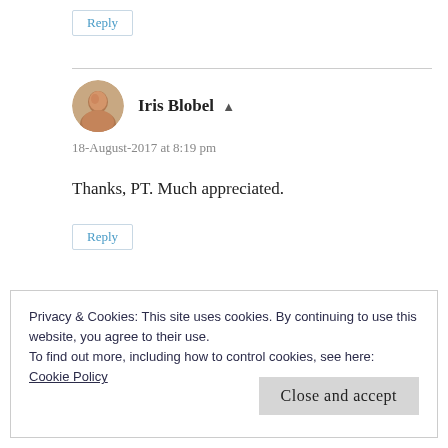Reply
Iris Blobel
18-August-2017 at 8:19 pm
Thanks, PT. Much appreciated.
Reply
Privacy & Cookies: This site uses cookies. By continuing to use this website, you agree to their use.
To find out more, including how to control cookies, see here:
Cookie Policy
Close and accept